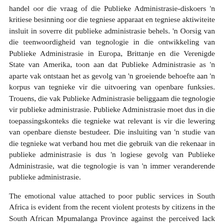handel oor die vraag of die Publieke Administrasie-diskoers 'n kritiese besinning oor die tegniese apparaat en tegniese aktiwiteite insluit in soverre dit publieke administrasie behels. 'n Oorsig van die teenwoordigheid van tegnologie in die ontwikkeling van Publieke Administrasie in Europa, Brittanje en die Verenigde State van Amerika, toon aan dat Publieke Administrasie as 'n aparte vak ontstaan het as gevolg van 'n groeiende behoefte aan 'n korpus van tegnieke vir die uitvoering van openbare funksies. Trouens, die vak Publieke Administrasie beliggaam die tegnologie vir publieke administrasie. Publieke Administrasie moet dus in die toepassingskonteks die tegnieke wat relevant is vir die lewering van openbare dienste bestudeer. Die insluiting van 'n studie van die tegnieke wat verband hou met die gebruik van die rekenaar in publieke administrasie is dus 'n logiese gevolg van Publieke Administrasie, wat die tegnologie is van 'n immer veranderende publieke administrasie. The emotional value attached to poor public services in South Africa is evident from the recent violent protests by citizens in the South African Mpumalanga Province against the perceived lack of proper service delivery by the government. Bearing in mind the expectations for service delivery after the election of new public representatives in the national and provincial spheres during 2009, it is appropriate to critically reflect on the how and the means (sometimes referred to as "technology") applied by public institutions to transform political policy into practical programmes. This critical reflection is usually expected to